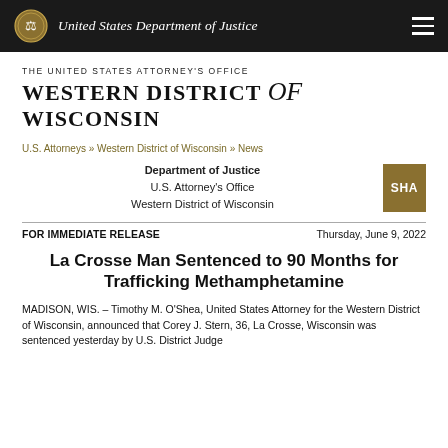United States Department of Justice
THE UNITED STATES ATTORNEY'S OFFICE
WESTERN DISTRICT of WISCONSIN
U.S. Attorneys » Western District of Wisconsin » News
Department of Justice
U.S. Attorney's Office
Western District of Wisconsin
FOR IMMEDIATE RELEASE
Thursday, June 9, 2022
La Crosse Man Sentenced to 90 Months for Trafficking Methamphetamine
MADISON, WIS. – Timothy M. O'Shea, United States Attorney for the Western District of Wisconsin, announced that Corey J. Stern, 36, La Crosse, Wisconsin was sentenced yesterday by U.S. District Judge